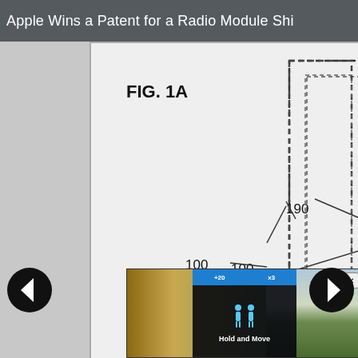Apple Wins a Patent for a Radio Module Shi
[Figure (engineering-diagram): Patent figure FIG. 1A showing a dashed-line rectangular outline (reference 190) representing a radio module shield, with reference 100 pointing to a device. Navigation arrows and advertisement overlay visible.]
FIG. 1A